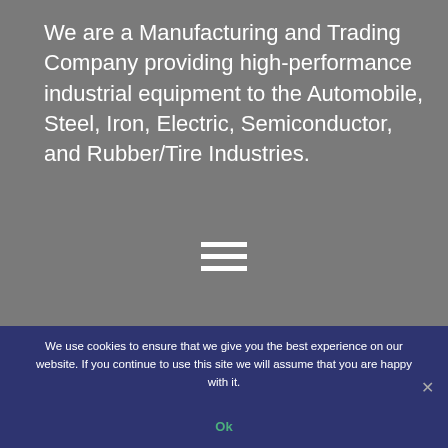We are a Manufacturing and Trading Company providing high-performance industrial equipment to the Automobile, Steel, Iron, Electric, Semiconductor, and Rubber/Tire Industries.
[Figure (other): Hamburger menu icon — three horizontal white bars stacked vertically]
We use cookies to ensure that we give you the best experience on our website. If you continue to use this site we will assume that you are happy with it.
Ok